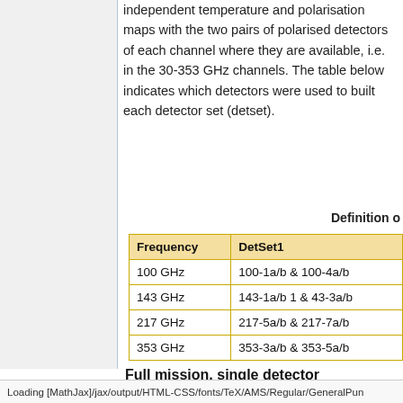independent temperature and polarisation maps with the two pairs of polarised detectors of each channel where they are available, i.e. in the 30-353 GHz channels. The table below indicates which detectors were used to built each detector set (detset).
Definition o
| Frequency | DetSet1 |
| --- | --- |
| 100 GHz | 100-1a/b & 100-4a/b |
| 143 GHz | 143-1a/b 1 & 43-3a/b |
| 217 GHz | 217-5a/b & 217-7a/b |
| 353 GHz | 353-3a/b & 353-5a/b |
Full mission, single detector
Loading [MathJax]/jax/output/HTML-CSS/fonts/TeX/AMS/Regular/GeneralPun